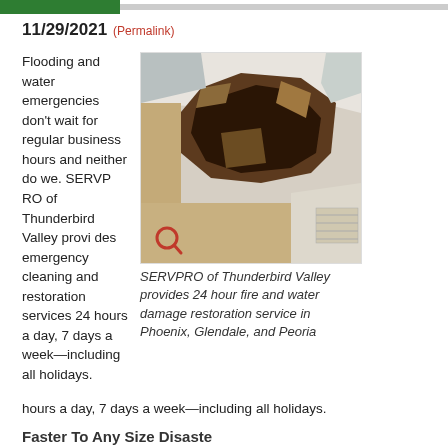11/29/2021 (Permalink)
Flooding and water emergencies don't wait for regular business hours and neither do we. SERVPRO of Thunderbird Valley provides emergency cleaning and restoration services 24 hours a day, 7 days a week—including all holidays.
[Figure (photo): Water-damaged ceiling with a large hole showing insulation, structural damage and debris, inside a building with yellow/tan walls.]
SERVPRO of Thunderbird Valley provides 24 hour fire and water damage restoration service in Phoenix, Glendale, and Peoria
hours a day, 7 days a week—including all holidays.
Faster To Any Size Disaster